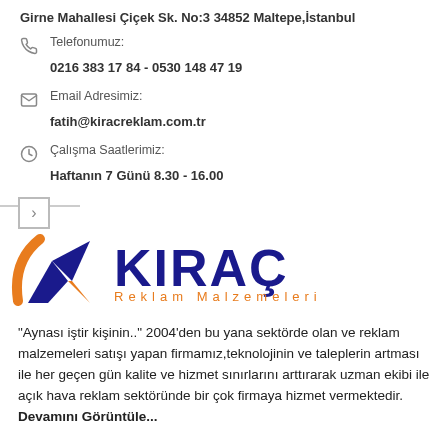Girne Mahallesi Çiçek Sk. No:3 34852 Maltepe,İstanbul
Telefonumuz:
0216 383 17 84 - 0530 148 47 19
Email Adresimiz:
fatih@kiracreklam.com.tr
Çalışma Saatlerimiz:
Haftanın 7 Günü 8.30 - 16.00
[Figure (logo): Kıraç Reklam Malzemeleri logo with orange and dark blue checkmark/arrow symbol and bold dark blue KIRAÇ text with orange subtitle Reklam Malzemeleri]
"Aynası iştir kişinin.." 2004'den bu yana sektörde olan ve reklam malzemeleri satışı yapan firmamız,teknolojinin ve taleplerin artması ile her geçen gün kalite ve hizmet sınırlarını arttırarak uzman ekibi ile açık hava reklam sektöründe bir çok firmaya hizmet vermektedir. Devamını Görüntüle...